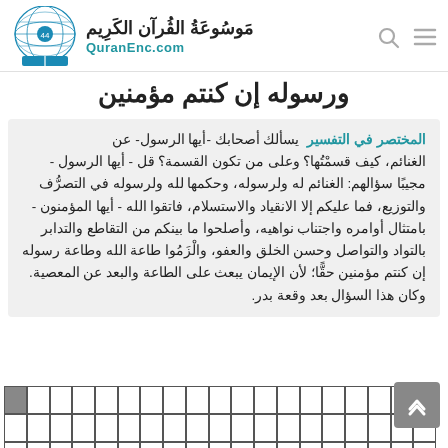موسوعة القرآن الكريم - QuranEnc.com
ورسوله إن كنتم مؤمنين
المختصر في التفسير  يسألك أصحابك -أيها الرسول- عن الغنائم، كيف قسمْتُها؟ وعلى من تكون القسمة؟ قل - أيها الرسول - مجيبًا سؤالهم: الغنائم له ولرسوله، وحكمها لله ولرسوله في التصرُّف والتوزيع، فما عليكم إلا الانقياد والاستسلام، فاتقوا الله - أيها المؤمنون - بامتثال أوامره واجتناب نواهيه، وأصلحوا ما بينكم من التقاطع والتدابر بالتواد والتواصل وحسن الخلق والعفو، والْزَمُوا طاعة الله وطاعة رسوله إن كنتم مؤمنين حقًّا؛ لأن الإيمان يبعث على الطاعة والبعد عن المعصية. وكان هذا السؤال بعد وقعة بدر.
[Figure (other): Arabic text rendered as individual character cells in a grid layout, showing Quranic Arabic text broken into boxes]